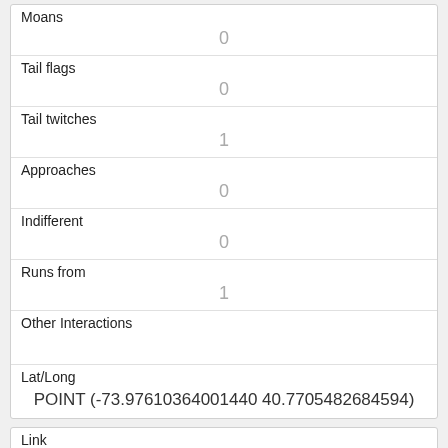| Moans | 0 |
| Tail flags | 0 |
| Tail twitches | 1 |
| Approaches | 0 |
| Indifferent | 0 |
| Runs from | 1 |
| Other Interactions |  |
| Lat/Long | POINT (-73.97610364001440 40.7705482684594) |
| Link | 374 |
| rowid | 374 |